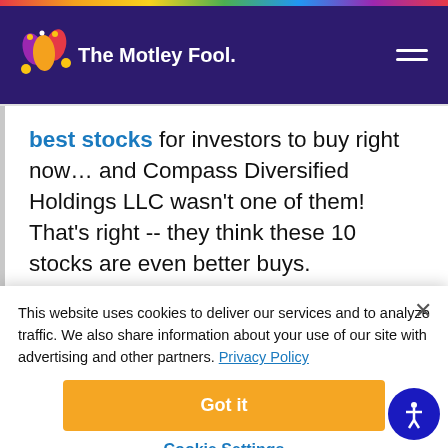The Motley Fool
best stocks for investors to buy right now… and Compass Diversified Holdings LLC wasn't one of them! That's right -- they think these 10 stocks are even better buys.
This website uses cookies to deliver our services and to analyze traffic. We also share information about your use of our site with advertising and other partners. Privacy Policy
Got it
Cookie Settings